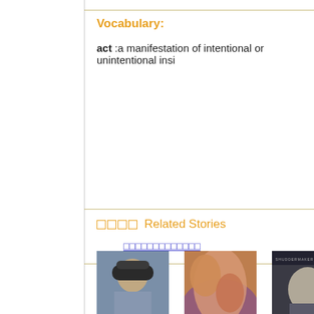Vocabulary:
act :a manifestation of intentional or unintentional insi
□□□□ Related Stories
□□□□□□□□□□□□□
[Figure (photo): Police officer in uniform with cap]
[Figure (photo): Animated characters, Egyptian style, man and woman]
[Figure (photo): Man in suit, movie poster style, text at top reading SHUDDERMAKER or similar]